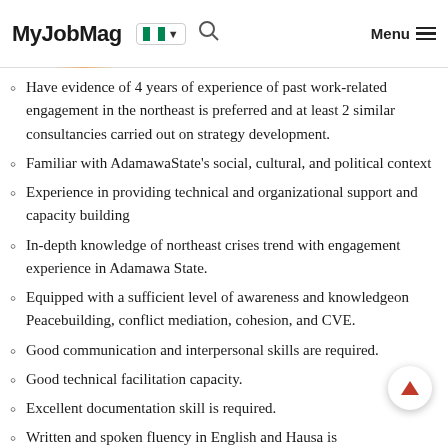MyJobMag [Nigeria flag] [search] Menu
Have evidence of 4 years of experience of past work-related engagement in the northeast is preferred and at least 2 similar consultancies carried out on strategy development.
Familiar with AdamawaState's social, cultural, and political context
Experience in providing technical and organizational support and capacity building
In-depth knowledge of northeast crises trend with engagement experience in Adamawa State.
Equipped with a sufficient level of awareness and knowledgeon Peacebuilding, conflict mediation, cohesion, and CVE.
Good communication and interpersonal skills are required.
Good technical facilitation capacity.
Excellent documentation skill is required.
Written and spoken fluency in English and Hausa is